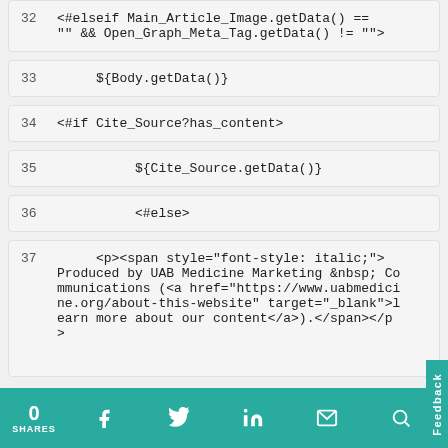32   <#elseif Main_Article_Image.getData() == "" && Open_Graph_Meta_Tag.getData() != "">
33        ${Body.getData()}
34   <#if Cite_Source?has_content>
35        ${Cite_Source.getData()}
36        <#else>
37        <p><span style="font-style: italic;">Produced by UAB Medicine Marketing &nbsp; Communications (<a href="https://www.uabmedicine.org/about-this-website" target="_blank">learn more about our content</a>).</span></p>
0 SHARES  [Facebook] [Twitter] [LinkedIn] [Email] [Search]  Feedback